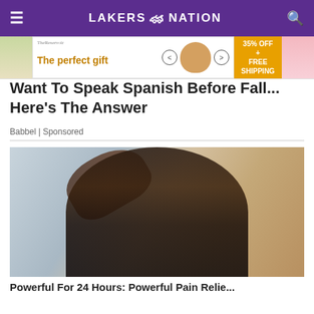LAKERS NATION
[Figure (screenshot): Advertisement banner: The perfect gift, 35% OFF + FREE SHIPPING]
Want To Speak Spanish Before Fall... Here's The Answer
Babbel | Sponsored
[Figure (photo): Woman tilting head back using a dropper to place liquid in her mouth]
Powerful For 24 Hours: Powerful Pain Relief...